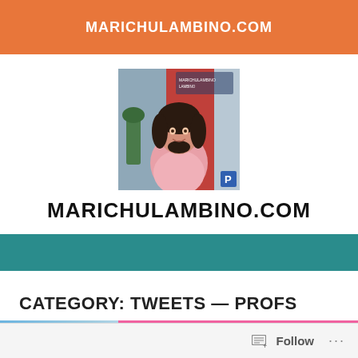MARICHULAMBINO.COM
[Figure (photo): Profile photo of a woman smiling, with a pink top, curly dark hair, in front of a pink/red door background with text overlay]
MARICHULAMBINO.COM
CATEGORY: TWEETS — PROFS
[Figure (screenshot): Preview image strip with blue textured image on left and pink banner with text 'Hinahangaan sa kanyang talino at beauty']
Follow ...